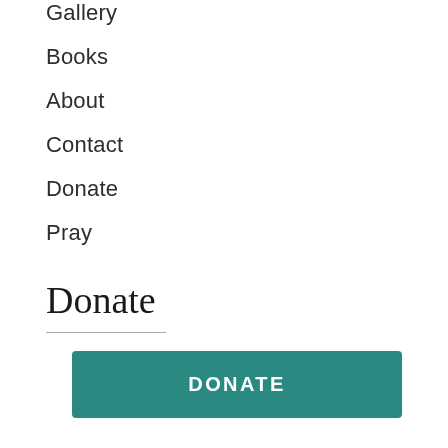Gallery
Books
About
Contact
Donate
Pray
Donate
DONATE